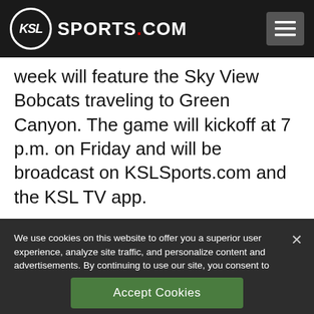KSL SPORTS.COM
week will feature the Sky View Bobcats traveling to Green Canyon. The game will kickoff at 7 p.m. on Friday and will be broadcast on KSLSports.com and the KSL TV app.
We use cookies on this website to offer you a superior user experience, analyze site traffic, and personalize content and advertisements. By continuing to use our site, you consent to our use of cookies. Please visit our Privacy Policy for more information.
Accept Cookies